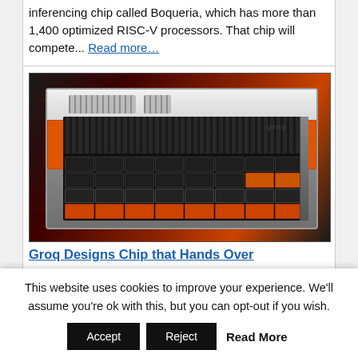inferencing chip called Boqueria, which has more than 1,400 optimized RISC-V processors. That chip will compete... Read more…
[Figure (photo): Photo of a Groq branded rack-mount server unit with orange handles, black front panel with drive bays and fan grilles, on a dark red/orange gradient background.]
Groq Designs Chip that Hands Over
This website uses cookies to improve your experience. We'll assume you're ok with this, but you can opt-out if you wish.